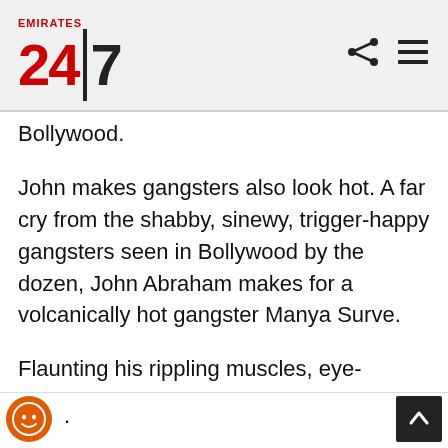Emirates 24|7
Bollywood.
John makes gangsters also look hot. A far cry from the shabby, sinewy, trigger-happy gangsters seen in Bollywood by the dozen, John Abraham makes for a volcanically hot gangster Manya Surve.
Flaunting his rippling muscles, eye-popping abs and biceps, the brawny and bulgy John also gives a packed performance with heavy dialogue delivery.
In 'Shootout At Wadala' John essays the role of a Maharashtrian character on the wrong side of the